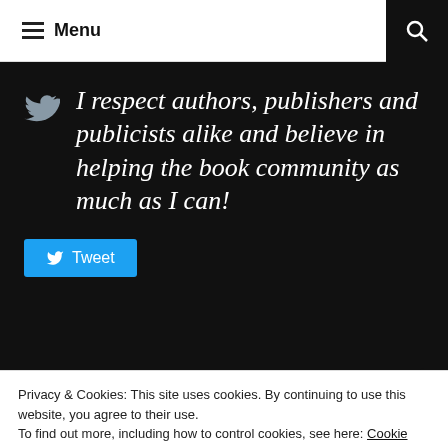Menu
I respect authors, publishers and publicists alike and believe in helping the book community as much as I can!
Tweet
Privacy & Cookies: This site uses cookies. By continuing to use this website, you agree to their use.
To find out more, including how to control cookies, see here: Cookie Policy
Close and accept
where mostly we decide our monthly book meets